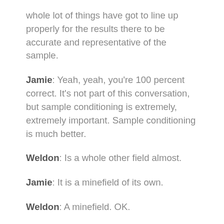whole lot of things have got to line up properly for the results there to be accurate and representative of the sample.
Jamie:  Yeah, yeah, you're 100 percent correct. It's not part of this conversation, but sample conditioning is extremely, extremely important. Sample conditioning is much better.
Weldon:  Is a whole other field almost.
Jamie:  It is a minefield of its own.
Weldon:  A minefield. OK.
Jamie:  [laughs] Just because it's very